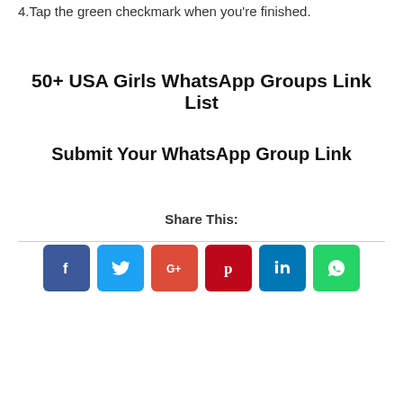4.Tap the green checkmark when you're finished.
50+ USA Girls WhatsApp Groups Link List
Submit Your WhatsApp Group Link
Share This:
[Figure (infographic): Row of six social media share buttons: Facebook (blue), Twitter (light blue), Google+ (red), Pinterest (dark red), LinkedIn (blue), WhatsApp (green)]